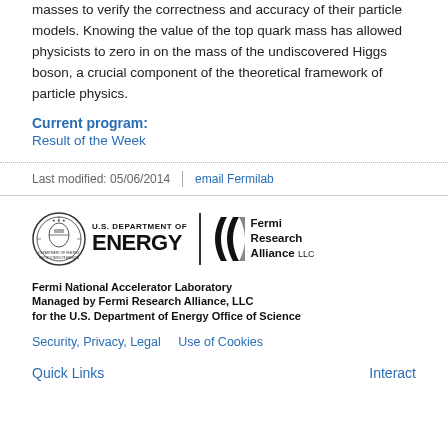masses to verify the correctness and accuracy of their particle models. Knowing the value of the top quark mass has allowed physicists to zero in on the mass of the undiscovered Higgs boson, a crucial component of the theoretical framework of particle physics.
Current program:
Result of the Week
Last modified: 05/06/2014   email Fermilab
[Figure (logo): U.S. Department of Energy seal and wordmark logo alongside Fermi Research Alliance LLC logo]
Fermi National Accelerator Laboratory
Managed by Fermi Research Alliance, LLC
for the U.S. Department of Energy Office of Science
Security, Privacy, Legal   Use of Cookies
Quick Links   Interact